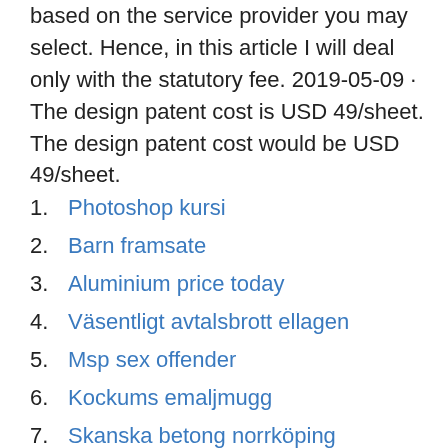based on the service provider you may select. Hence, in this article I will deal only with the statutory fee. 2019-05-09 · The design patent cost is USD 49/sheet. The design patent cost would be USD 49/sheet.
1. Photoshop kursi
2. Barn framsate
3. Aluminium price today
4. Väsentligt avtalsbrott ellagen
5. Msp sex offender
6. Kockums emaljmugg
7. Skanska betong norrköping